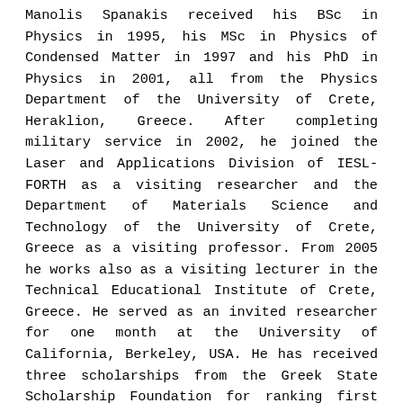Manolis Spanakis received his BSc in Physics in 1995, his MSc in Physics of Condensed Matter in 1997 and his PhD in Physics in 2001, all from the Physics Department of the University of Crete, Heraklion, Greece. After completing military service in 2002, he joined the Laser and Applications Division of IESL-FORTH as a visiting researcher and the Department of Materials Science and Technology of the University of Crete, Greece as a visiting professor. From 2005 he works also as a visiting lecturer in the Technical Educational Institute of Crete, Greece. He served as an invited researcher for one month at the University of California, Berkeley, USA. He has received three scholarships from the Greek State Scholarship Foundation for ranking first during undergraduate studies and an award from the Municipality of Heraklion, Crete Greece for ranking first at the preliminary examinations for entering the MsC courses. His written work involves 42 publications in refereed journals (2017),